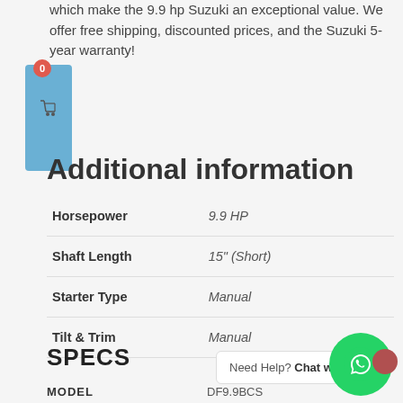which make the 9.9 hp Suzuki an exceptional value. We offer free shipping, discounted prices, and the Suzuki 5-year warranty!
[Figure (other): Shopping cart widget with badge showing 0 items, blue background with cart icon]
Additional information
| Horsepower | 9.9 HP |
| Shaft Length | 15" (Short) |
| Starter Type | Manual |
| Tilt & Trim | Manual |
SPECS
Need Help? Chat with us
MODEL
[Figure (other): WhatsApp chat button - green circle with white phone/chat icon, red circle overlay in upper right]